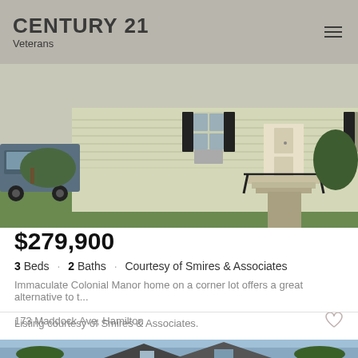CENTURY 21 Veterans
[Figure (photo): Exterior photo of a yellow/beige colonial-style house with black shutters, front steps with black railings, green lawn, and a truck parked to the left]
$279,900
3 Beds · 2 Baths · Courtesy of Smires & Associates
Immaculate Colonial Manor home on a corner lot offers a great alternative to t...
173 Maddock Ave, Hamilton
Listing courtesy of Smires & Associates.
[Figure (photo): Partial view of another house listing photo showing roof peaks against a blue sky with trees]